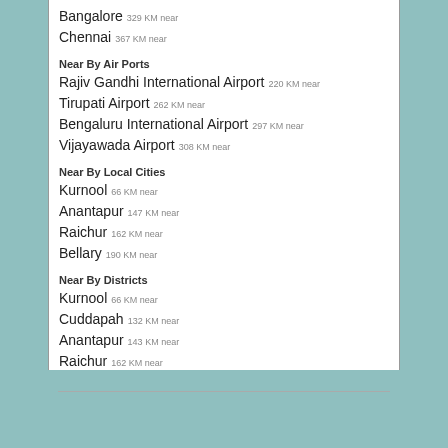Bangalore  329 KM near
Chennai  367 KM near
Near By Air Ports
Rajiv Gandhi International Airport  220 KM near
Tirupati Airport  262 KM near
Bengaluru International Airport  297 KM near
Vijayawada Airport  308 KM near
Near By Local Cities
Kurnool  66 KM near
Anantapur  147 KM near
Raichur  162 KM near
Bellary  190 KM near
Near By Districts
Kurnool  66 KM near
Cuddapah  132 KM near
Anantapur  143 KM near
Raichur  162 KM near
Near By RailWay Station
Nandyal Junction Rail Way Station  0.4 KM near
Betamcherla Rail Way Station  38 KM near